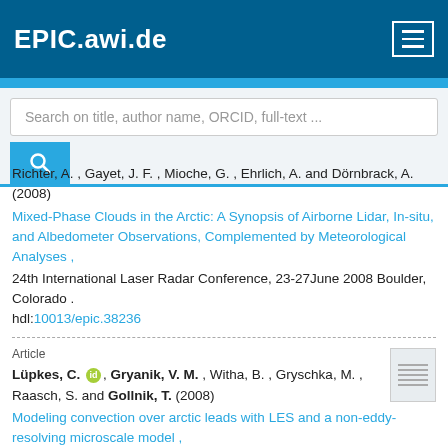EPIC.awi.de
Search on title, author name, ORCID, full-text ...
Richter, A. , Gayet, J. F. , Mioche, G. , Ehrlich, A. and Dörnbrack, A. (2008) Mixed-Phase Clouds in the Arctic: A Synopsis of Airborne Lidar, In-situ, and Albedometer Observations, Complemented by Meteorological Analyses , 24th International Laser Radar Conference, 23-27June 2008 Boulder, Colorado . hdl:10013/epic.38236
Article
Lüpkes, C. , Gryanik, V. M. , Witha, B. , Gryschka, M. , Raasch, S. and Gollnik, T. (2008)
Modeling convection over arctic leads with LES and a non-eddy-resolving microscale model ,
Journal of Geophysical Research, 113, C09028. .
doi:10.1029/2007JC004099 , hdl:10013/epic.31122